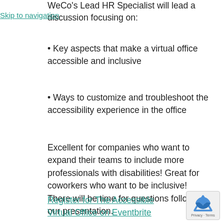WeCo's Lead HR Specialist will lead a discussion focusing on:
Skip to navigation
• Key aspects that make a virtual office accessible and inclusive
• Ways to customize and troubleshoot the accessibility experience in the office
Excellent for companies who want to expand their teams to include more professionals with disabilities! Great for coworkers who want to be inclusive!
There will be time for questions following our presentation.
Register for The Accessible Virtual Office on Eventbrite